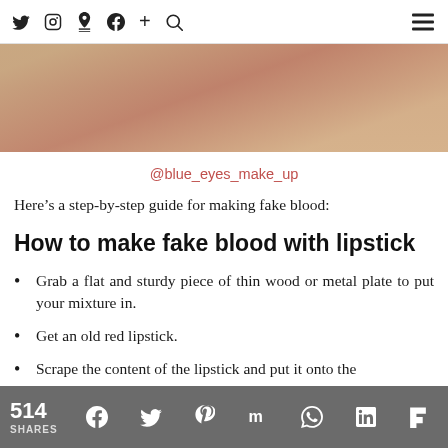Twitter Instagram Pinterest Facebook + Search | menu
[Figure (photo): Close-up photo of skin (neck/chin area) with reddish tones, partially cropped at top of page]
@blue_eyes_make_up
Here's a step-by-step guide for making fake blood:
How to make fake blood with lipstick
Grab a flat and sturdy piece of thin wood or metal plate to put your mixture in.
Get an old red lipstick.
Scrape the content of the lipstick and put it onto the
514 SHARES | Facebook | Twitter | Pinterest | Mix | WhatsApp | LinkedIn | Flipboard